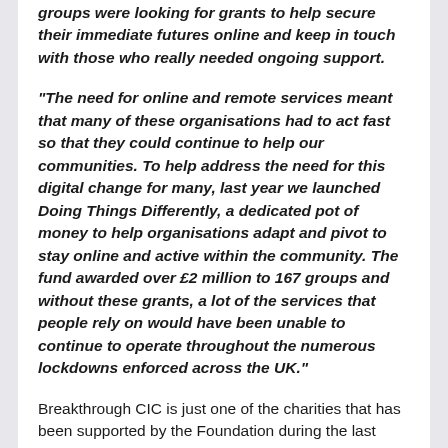groups were looking for grants to help secure their immediate futures online and keep in touch with those who really needed ongoing support.
“The need for online and remote services meant that many of these organisations had to act fast so that they could continue to help our communities. To help address the need for this digital change for many, last year we launched Doing Things Differently, a dedicated pot of money to help organisations adapt and pivot to stay online and active within the community. The fund awarded over £2 million to 167 groups and without these grants, a lot of the services that people rely on would have been unable to continue to operate throughout the numerous lockdowns enforced across the UK.”
Breakthrough CIC is just one of the charities that has been supported by the Foundation during the last twelve months. The community group, based in Sandwell, was awarded £3,000 which funded a virtual group connecting